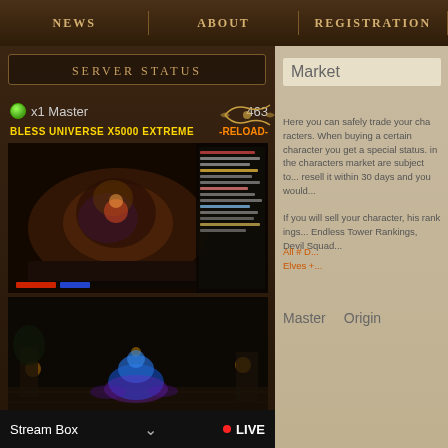NEWS | ABOUT | REGISTRATION
SERVER STATUS
x1 Master   463
BLESS UNIVERSE X5000 EXTREME   -RELOAD-
[Figure (screenshot): Game screenshot showing a battle scene with a large dark creature/boss surrounded by purple and gold light effects, with a chat panel on the right]
[Figure (screenshot): Game screenshot showing a character on a blue creature/mount in a dark dungeon environment with purple circular ground effects]
Stream Box  ∨  ● LIVE
Market
Here you can safely trade your characters. When buying a certain character you get a special status. in the characters market are subject to... resell it within 30 days and you would...
If you will sell your character, his rankings... Endless Tower Rankings, Devil Squad...
All # D... Elves +...
Master   Origin